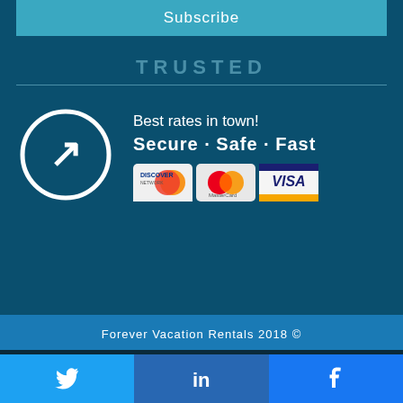Subscribe
TRUSTED
[Figure (infographic): Arrow icon in white circle on dark teal background with text: Best rates in town! Secure • Safe • Fast, and Discover, MasterCard, VISA payment logos]
Forever Vacation Rentals 2018 ©
[Figure (infographic): Social media buttons: Twitter (bird icon), LinkedIn (in), Facebook (f)]